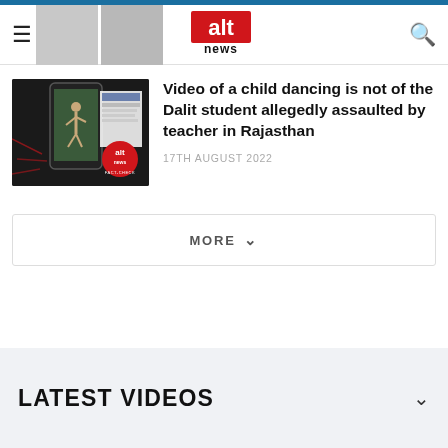[Figure (screenshot): Alt News website screenshot showing header with hamburger menu, logo, search icon, and article listing]
Video of a child dancing is not of the Dalit student allegedly assaulted by teacher in Rajasthan
17TH AUGUST 2022
MORE
LATEST VIDEOS